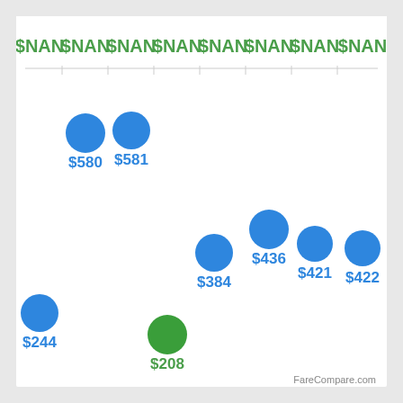[Figure (scatter-plot): Fare scatter chart]
FareCompare.com